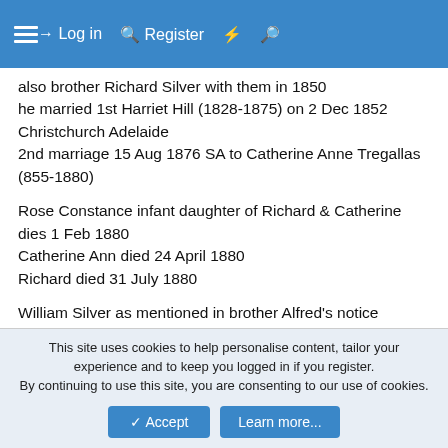≡  Log in  Register  ⚡  🔍
also brother Richard Silver with them in 1850
he married 1st Harriet Hill (1828-1875) on 2 Dec 1852 Christchurch Adelaide
2nd marriage 15 Aug 1876 SA to Catherine Anne Tregallas (855-1880)

Rose Constance infant daughter of Richard & Catherine dies 1 Feb 1880
Catherine Ann died 24 April 1880
Richard died 31 July 1880

William Silver as mentioned in brother Alfred's notice
https://trove.nla.gov.au/newspaper/article/53614441?searchTerm=william silver
This site uses cookies to help personalise content, tailor your experience and to keep you logged in if you register.
By continuing to use this site, you are consenting to our use of cookies.
Accept  Learn more...